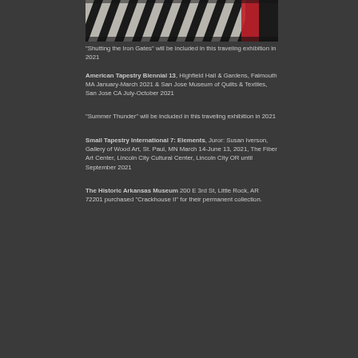[Figure (photo): Close-up photo of a textile/tapestry showing diagonal black and white stripes with a red element on the right side, against a dark background.]
“Shutting the Iron Gates” will be included in this traveling exhibition in 2021
American Tapestry Biennial 13, Highfield Hall & Gardens, Falmouth MA January-March 2021 & San Jose Museum of Quilts & Textiles, San Jose CA July-October 2021
“Summer Thunder” will be included in this traveling exhibition in 2021
Small Tapestry International 7: Elements, Juror: Susan Iverson, Gallery of Wood Art, St. Paul, MN March 14-June 13, 2021, The Fiber Art Center, Lincoln City Cultural Center, Lincoln City OR until September 2021
The Historic Arkansas Museum 200 E 3rd St, Little Rock, AR 72201 purchased "Crackhouse II" for their permanent collection.